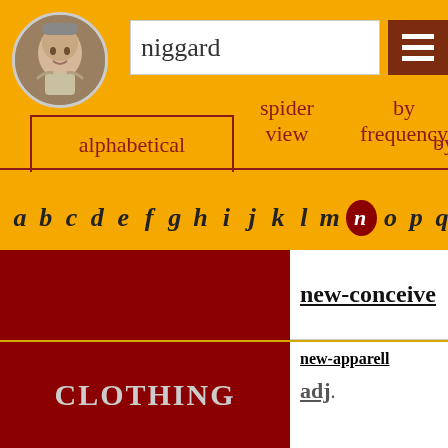[Figure (illustration): Shakespeare portrait in a circle]
niggard
alphabetical
spider view
by frequency by
a b c d e f g h i j k l m n o p q
new-conceive
CLOTHING
new-apparell
adj.